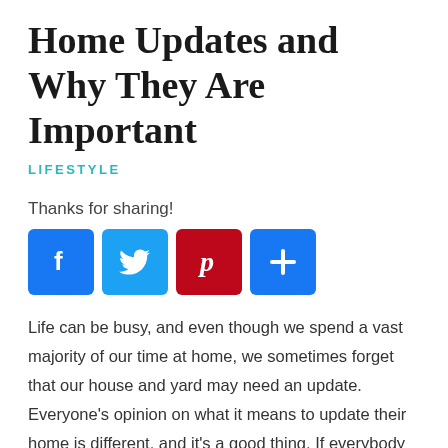Home Updates and Why They Are Important
LIFESTYLE
Thanks for sharing!
[Figure (infographic): Row of four social sharing buttons: Facebook (blue, 'f' icon), Twitter (light blue, bird icon), Pinterest (dark red, 'p' icon), and a blue plus '+' button]
Life can be busy, and even though we spend a vast majority of our time at home, we sometimes forget that our house and yard may need an update. Everyone's opinion on what it means to update their home is different, and it's a good thing. If everybody were the same, life would be boring. Here are some ways people choose to update their